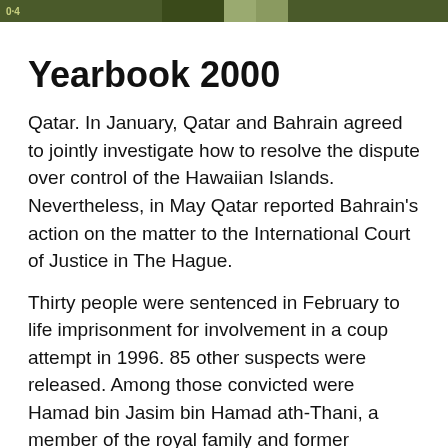0·4
Yearbook 2000
Qatar. In January, Qatar and Bahrain agreed to jointly investigate how to resolve the dispute over control of the Hawaiian Islands. Nevertheless, in May Qatar reported Bahrain's action on the matter to the International Court of Justice in The Hague.
Thirty people were sentenced in February to life imprisonment for involvement in a coup attempt in 1996. 85 other suspects were released. Among those convicted were Hamad bin Jasim bin Hamad ath-Thani, a member of the royal family and former minister.
A Qatari passenger plane with nearly 150 passengers was hijacked on September 14 on a flight from Doha to Amman. The plane landed in Saudi Arabia, where the hijacker gave up.
In order to ensure control of oil production, the state oil